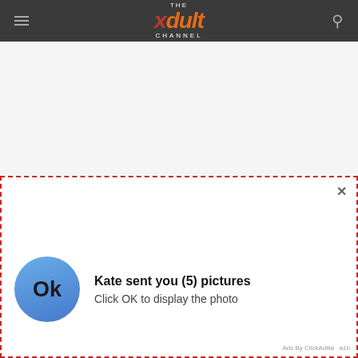THE xdult CHANNEL
Metal skeleton and TPE material give it a high-quality finish
[Figure (screenshot): Web page screenshot showing 'The Xdult Channel' website header with hamburger menu and search icon on a dark grey background, with a dashed red border ad popup containing a notification: 'Kate sent you (5) pictures - Click OK to display the photo' with an OK button circle avatar, and an X close button. Ads By ClickAdilla label visible.]